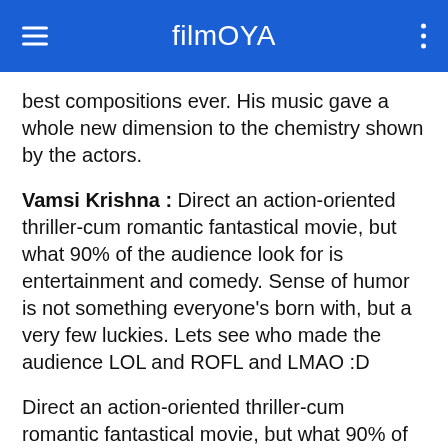filmOYA
best compositions ever. His music gave a whole new dimension to the chemistry shown by the actors.
Vamsi Krishna : Direct an action-oriented thriller-cum romantic fantastical movie, but what 90% of the audience look for is entertainment and comedy. Sense of humor is not something everyone's born with, but a very few luckies. Lets see who made the audience LOL and ROFL and LMAO :D
Direct an action-oriented thriller-cum romantic fantastical movie, but what 90% of